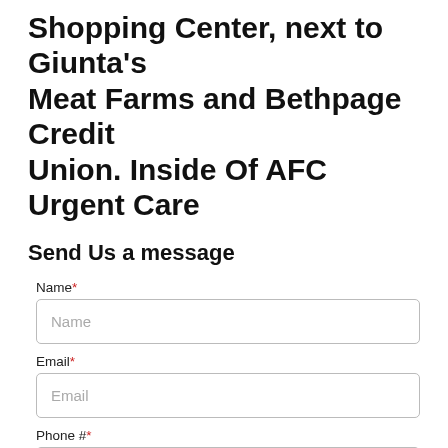Shopping Center, next to Giunta's Meat Farms and Bethpage Credit Union. Inside Of AFC Urgent Care
Send Us a message
Name*
Email*
Phone #*
Message